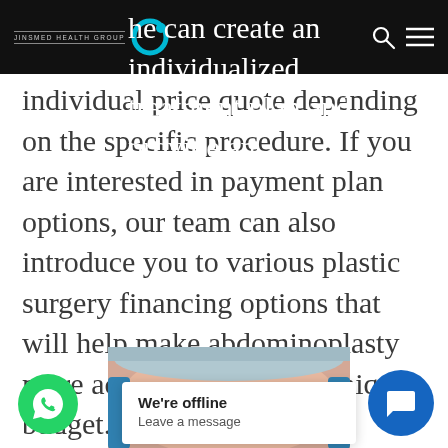JINSMED HEALTH GROUP
he can create an individualized treatment plan and provide an individual price quote depending on the specific procedure. If you are interested in payment plan options, our team can also introduce you to various plastic surgery financing options that will help make abdominoplasty more accessible for your unique budget.
[Figure (photo): Close-up of a person's face with surgical markings, wearing a medical cap, with gloved hands visible]
We're offline
Leave a message